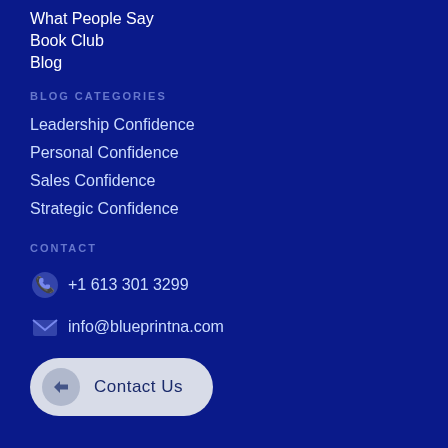What People Say
Book Club
Blog
BLOG CATEGORIES
Leadership Confidence
Personal Confidence
Sales Confidence
Strategic Confidence
CONTACT
+1 613 301 3299
info@blueprintna.com
Contact Us